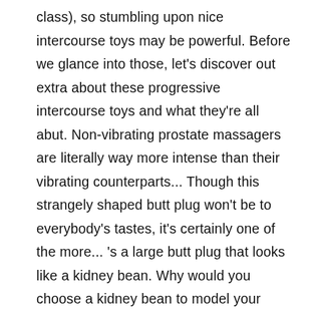class), so stumbling upon nice intercourse toys may be powerful. Before we glance into those, let's discover out extra about these progressive intercourse toys and what they're all about. Non-vibrating prostate massagers are literally way more intense than their vibrating counterparts... Though this strangely shaped butt plug won't be to everybody's tastes, it's certainly one of the more... 's a large butt plug that looks like a kidney bean. Why would you choose a kidney bean to model your intercourse toy from? They also make an incredible first-time intercourse toy for couples, based on Andy Duran, the schooling director for Good Vibrations. The winner of numerous awards within the sex toy business, the